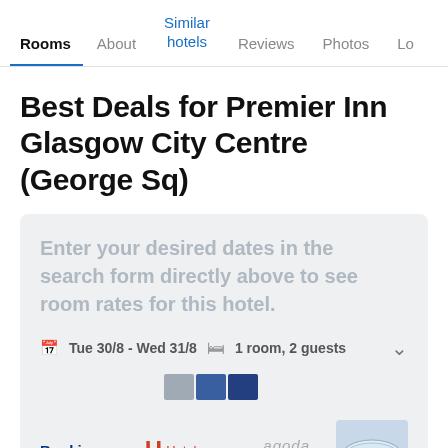Rooms | About | Similar hotels | Reviews | Photos | Lo
Best Deals for Premier Inn Glasgow City Centre (George Sq)
Enter your desired dates in the search form directly above to see room rates for this hotel.
Tue 30/8 - Wed 31/8   1 room, 2 guests
[Figure (screenshot): Booking.com, Hotels.com, and Agoda logos with hotel image]
Booking.com   Hotels.com   agoda